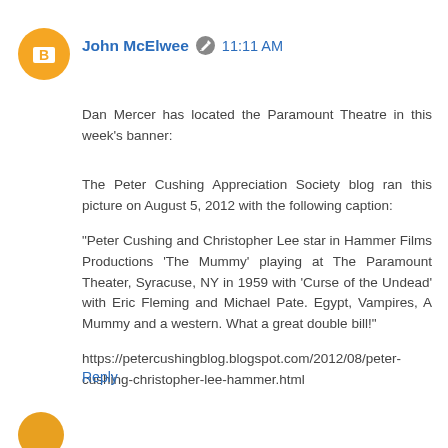[Figure (illustration): Orange circular Blogger avatar icon with white letter B]
John McElwee  11:11 AM
Dan Mercer has located the Paramount Theatre in this week's banner:
The Peter Cushing Appreciation Society blog ran this picture on August 5, 2012 with the following caption:
"Peter Cushing and Christopher Lee star in Hammer Films Productions 'The Mummy' playing at The Paramount Theater, Syracuse, NY in 1959 with 'Curse of the Undead' with Eric Fleming and Michael Pate. Egypt, Vampires, A Mummy and a western. What a great double bill!"
https://petercushingblog.blogspot.com/2012/08/peter-cushing-christopher-lee-hammer.html
Reply
[Figure (illustration): Orange circular avatar at bottom of page (partial)]